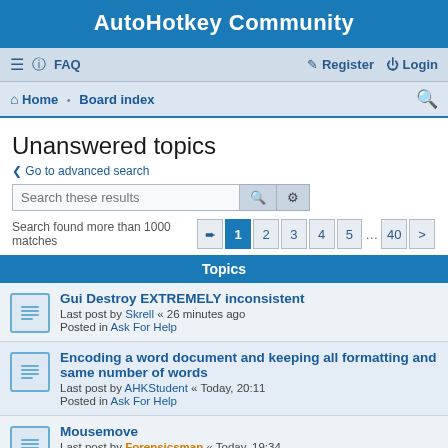AutoHotkey Community
≡  FAQ    Register  Login
Home · Board index
Unanswered topics
< Go to advanced search
Search these results
Search found more than 1000 matches  1 2 3 4 5 ... 40 >
Topics
Gui Destroy EXTREMELY inconsistent
Last post by Skrell « 26 minutes ago
Posted in Ask For Help
Encoding a word document and keeping all formatting and same number of words
Last post by AHKStudent « Today, 20:11
Posted in Ask For Help
Mousemove
Last post by Forensicsman « Today, 19:34
Posted in Gaming